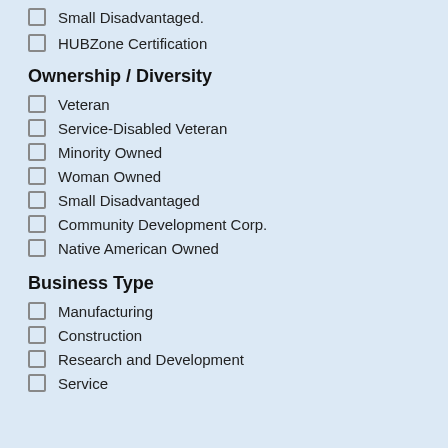Small Disadvantaged (partial, cut off at top)
HUBZone Certification
Ownership / Diversity
Veteran
Service-Disabled Veteran
Minority Owned
Woman Owned
Small Disadvantaged
Community Development Corp.
Native American Owned
Business Type
Manufacturing
Construction
Research and Development
Service